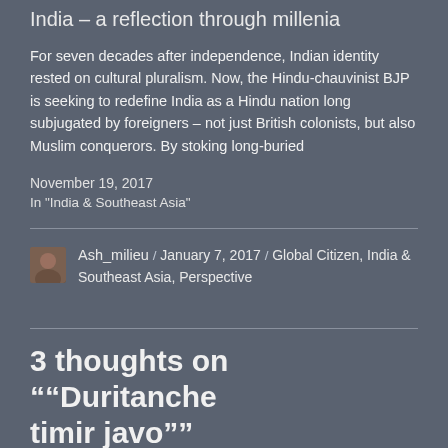India – a reflection through millenia
For seven decades after independence, Indian identity rested on cultural pluralism. Now, the Hindu-chauvinist BJP is seeking to redefine India as a Hindu nation long subjugated by foreigners – not just British colonists, but also Muslim conquerors. By stoking long-buried
November 19, 2017
In "India & Southeast Asia"
Ash_milieu / January 7, 2017 / Global Citizen, India & Southeast Asia, Perspective
3 thoughts on "“Duritanche timir javo”"